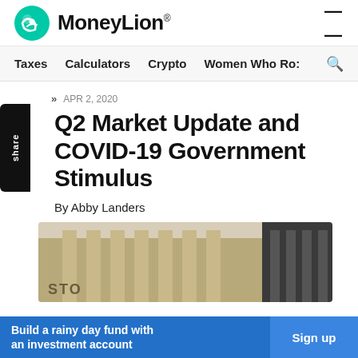[Figure (logo): MoneyLion logo with teal circular icon and wordmark]
Taxes  Calculators  Crypto  Women Who Ro:
APR 2, 2020
Q2 Market Update and COVID-19 Government Stimulus
By Abby Landers
[Figure (photo): Photo of stock exchange building exterior]
Build a rainy day fund with an investment account  Sign up